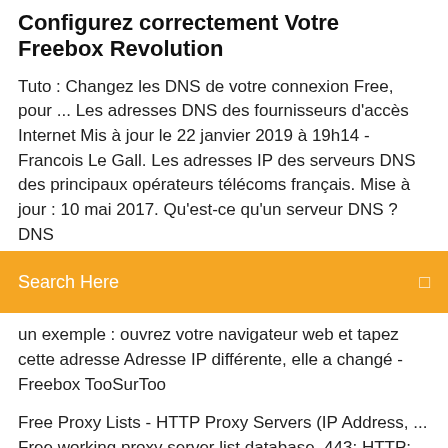Configurez correctement Votre Freebox Revolution
Tuto : Changez les DNS de votre connexion Free, pour ... Les adresses DNS des fournisseurs d'accès Internet Mis à jour le 22 janvier 2019 à 19h14 - Francois Le Gall. Les adresses IP des serveurs DNS des principaux opérateurs télécoms français. Mise à jour : 10 mai 2017. Qu'est-ce qu'un serveur DNS ? DNS
Search Here
un exemple : ouvrez votre navigateur web et tapez cette adresse Adresse IP différente, elle a changé - Freebox TooSurToo
Free Proxy Lists - HTTP Proxy Servers (IP Address, ... Free working proxy server list database. 443: HTTP: Anonymous: Viet Nam: Ho Chi Minh: Ho Chi Minh City: 90.4% Ethernet n'a pas de configuration IP valide - Windows 10 ... Votre connexion internet de fonctionne plus, et lorsque vous tentez de diagnostiquer le problème, le message suivant s'affiche Ethernet n'a pas de